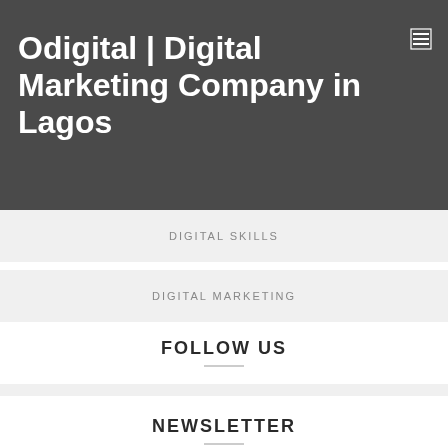Odigital | Digital Marketing Company in Lagos
DIGITAL SKILLS
DIGITAL MARKETING
FOLLOW US
[Figure (infographic): Social media icons: LinkedIn, Twitter, Instagram, Facebook, WhatsApp]
NEWSLETTER